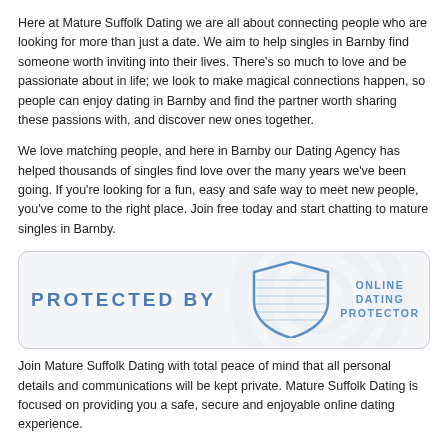Here at Mature Suffolk Dating we are all about connecting people who are looking for more than just a date. We aim to help singles in Barnby find someone worth inviting into their lives. There's so much to love and be passionate about in life; we look to make magical connections happen, so people can enjoy dating in Barnby and find the partner worth sharing these passions with, and discover new ones together.
We love matching people, and here in Barnby our Dating Agency has helped thousands of singles find love over the many years we've been going. If you're looking for a fun, easy and safe way to meet new people, you've come to the right place. Join free today and start chatting to mature singles in Barnby.
[Figure (logo): Protected By badge with Online Dating Protector shield logo]
Join Mature Suffolk Dating with total peace of mind that all personal details and communications will be kept private. Mature Suffolk Dating is focused on providing you a safe, secure and enjoyable online dating experience.
Putting Your Safety First
All Profiles Checked and Moderated